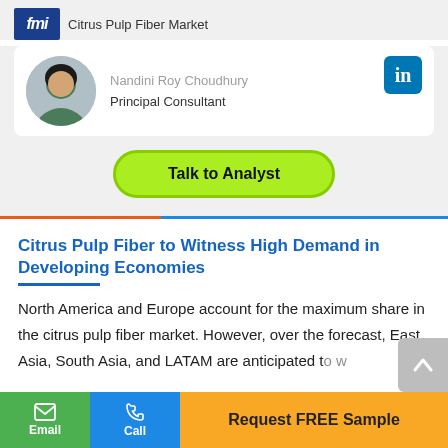Citrus Pulp Fiber Market
Nandini Roy Choudhury
Principal Consultant
Talk to Analyst
Citrus Pulp Fiber to Witness High Demand in Developing Economies
North America and Europe account for the maximum share in the citrus pulp fiber market. However, over the forecast, East Asia, South Asia, and LATAM are anticipated to w...
Email
Call
Request FREE Sample